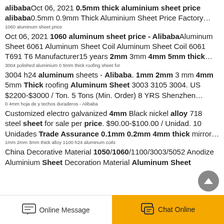alibaba Oct 06, 2021 0.5mm thick aluminium sheet price alibaba 0.5mm 0.9mm Thick Aluminium Sheet Price Factory…
1060 aluminum sheet price
Oct 06, 2021 1060 aluminum sheet price - AliBaba Aluminum Sheet 6061 Aluminum Sheet Coil Aluminum Sheet Coil 6061 T691 T6 Manufacturer 15 years 2mm 3mm 4mm 5mm thick…
3004 polished aluminium 0 5mm thick roofing sheet for
3004 h24 aluminum sheets - Alibaba. 1mm 2mm 3 mm 4mm 5mm Thick roofing Aluminum Sheet 3003 3105 3004. US $2200-$3000 / Ton. 5 Tons (Min. Order) 8 YRS Shenzhen…
0 4mm hoja de y techos duraderos - Alibaba
Customized electro galvanized 4mm Black nickel alloy 718 steel sheet for sale per price. $90.00-$100.00 / Unidad. 10 Unidades Trade Assurance 0.1mm 0.2mm 4mm thick mirror…
1mm 2mm 3mm thick alloy 1100 h24 aluminum coils
China Decorative Material 1050/1060/1100/3003/5052 Anodize Aluminium Sheet Decoration Material Aluminum Sheet
Online Message   Chat Online